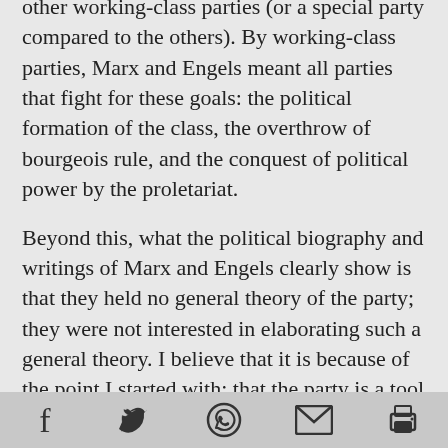other working-class parties (or a special party compared to the others). By working-class parties, Marx and Engels meant all parties that fight for these goals: the political formation of the class, the overthrow of bourgeois rule, and the conquest of political power by the proletariat.
Beyond this, what the political biography and writings of Marx and Engels clearly show is that they held no general theory of the party; they were not interested in elaborating such a general theory. I believe that it is because of the point I started with: that the party is a tool for the class struggle, for the revolutionary struggle, and this
[social share icons: Facebook, Twitter, WhatsApp, Email, Print]